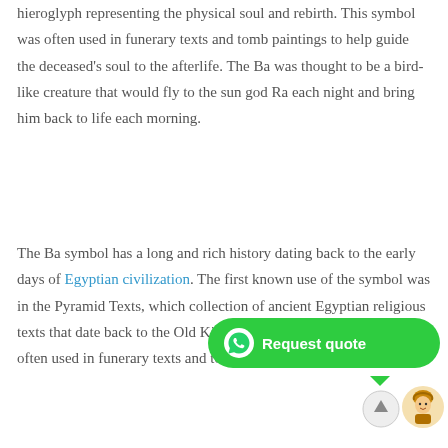hieroglyph representing the physical soul and rebirth. This symbol was often used in funerary texts and tomb paintings to help guide the deceased's soul to the afterlife. The Ba was thought to be a bird-like creature that would fly to the sun god Ra each night and bring him back to life each morning.
The Ba symbol has a long and rich history dating back to the early days of Egyptian civilization. The first known use of the symbol was in the Pyramid Texts, which collection of ancient Egyptian religious texts that date back to the Old Kingdom period. The Ba symbol was often used in funerary texts and tomb paintings.
[Figure (other): WhatsApp 'Request quote' chat bubble widget overlaying the text, with a scroll-up arrow button and a cartoon avatar icon below.]